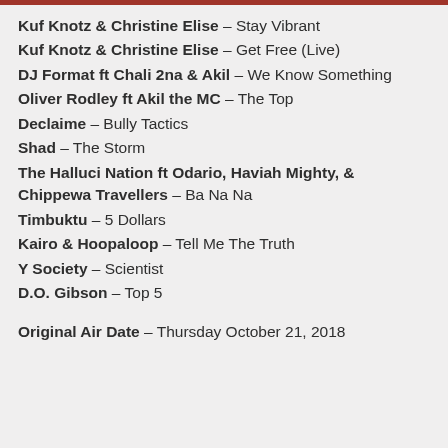Kuf Knotz & Christine Elise – Stay Vibrant
Kuf Knotz & Christine Elise – Get Free (Live)
DJ Format ft Chali 2na & Akil – We Know Something
Oliver Rodley ft Akil the MC – The Top
Declaime – Bully Tactics
Shad – The Storm
The Halluci Nation ft Odario, Haviah Mighty, & Chippewa Travellers – Ba Na Na
Timbuktu – 5 Dollars
Kairo & Hoopaloop – Tell Me The Truth
Y Society – Scientist
D.O. Gibson – Top 5
Original Air Date – Thursday October 21, 2018